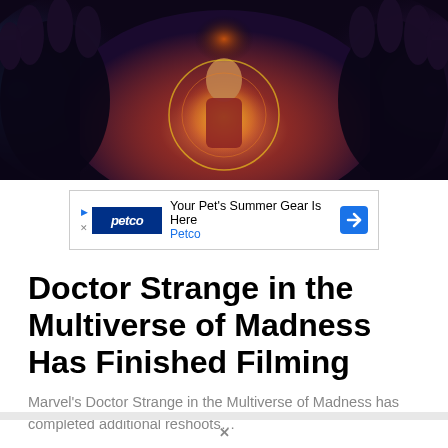[Figure (illustration): Doctor Strange in the Multiverse of Madness movie promotional artwork showing a central costumed figure surrounded by mystical cosmic energy and two large dark hands on either side]
[Figure (other): Petco advertisement banner: 'Your Pet's Summer Gear Is Here' with Petco logo]
Doctor Strange in the Multiverse of Madness Has Finished Filming
Marvel's Doctor Strange in the Multiverse of Madness has completed additional reshoots…